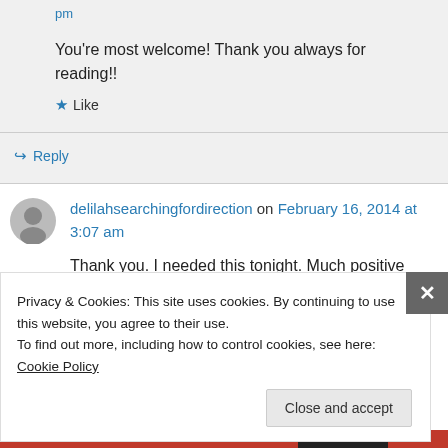pm
You're most welcome! Thank you always for reading!!
★ Like
↪ Reply
delilahsearchingfordirection on February 16, 2014 at 3:07 am
Thank you. I needed this tonight. Much positive
Privacy & Cookies: This site uses cookies. By continuing to use this website, you agree to their use.
To find out more, including how to control cookies, see here: Cookie Policy
Close and accept